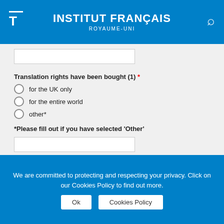INSTITUT FRANÇAIS ROYAUME-UNI
Translation rights have been bought (1) *
for the UK only
for the entire world
other*
*Please fill out if you have selected 'Other'
Has the author already been translated into English? *
Yes
No
Title, publisher and translator of his/her books already
We are committed to protecting and respecting your privacy. Click on our Cookies Policy to find out more.